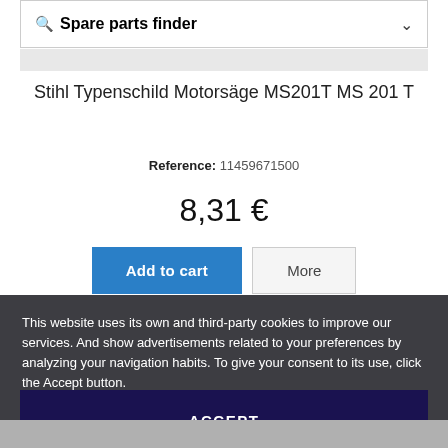Spare parts finder
Stihl Typenschild Motorsäge MS201T MS 201 T
Reference: 11459671500
8,31 €
Add to cart  More
This website uses its own and third-party cookies to improve our services. And show advertisements related to your preferences by analyzing your navigation habits. To give your consent to its use, click the Accept button.
Privacy Policy   customize cookies
ACCEPT